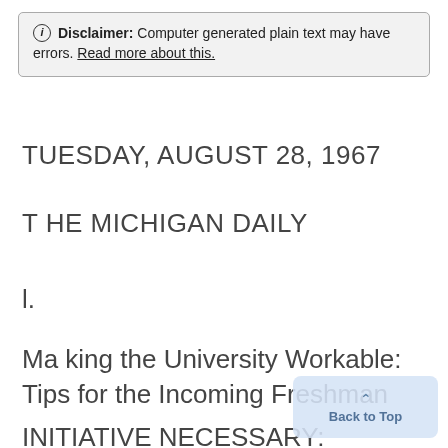ⓘ Disclaimer: Computer generated plain text may have errors. Read more about this.
TUESDAY, AUGUST 28, 1967
T HE MICHIGAN DAILY
l.
Ma king the University Workable: Tips for the Incoming Freshman
INITIATIVE NECESSARY: